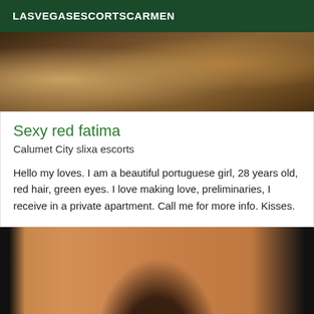LASVEGASESCORTSCARMEN
[Figure (photo): Partial view of a person, close-up photo with dark and brown tones]
Sexy red fatima
Calumet City slixa escorts
Hello my loves. I am a beautiful portuguese girl, 28 years old, red hair, green eyes. I love making love, preliminaries, I receive in a private apartment. Call me for more info. Kisses.
[Figure (photo): Photo with orange/warm background and silhouette of a person with dark hair at bottom, black borders on sides]